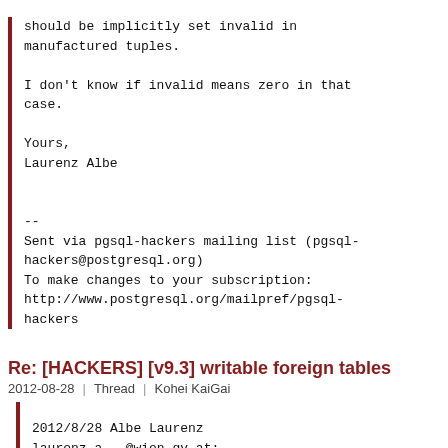should be implicitly set invalid in manufactured tuples.

I don't know if invalid means zero in that case.

Yours,
Laurenz Albe


--
Sent via pgsql-hackers mailing list (pgsql-hackers@postgresql.org)
To make changes to your subscription:
http://www.postgresql.org/mailpref/pgsql-hackers
Re: [HACKERS] [v9.3] writable foreign tables
2012-08-28  |  Thread  |  Kohei KaiGai
2012/8/28 Albe Laurenz laurenz.a...@wien.gv.at:
 Kohei KaiGai wrote:
 It is a responsibility of FDW extension (and